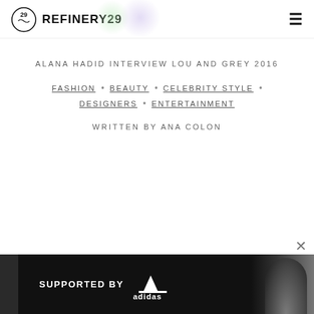REFINERY29
ALANA HADID INTERVIEW LOU AND GREY 2016
FASHION • BEAUTY • CELEBRITY STYLE •
DESIGNERS • ENTERTAINMENT
WRITTEN BY ANA COLON
[Figure (screenshot): Advertisement banner: black background with 'SUPPORTED BY' text and Adidas logo, with a person visible on the right side]